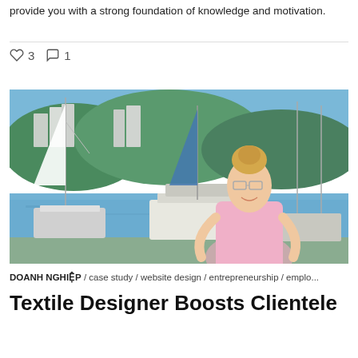provide you with a strong foundation of knowledge and motivation.
3  1
[Figure (photo): A smiling woman with blonde hair in a bun, wearing a pink floral dress, standing in front of a marina with sailboats and green hills in the background on a sunny day.]
DOANH NGHIỆP / case study / website design / entrepreneurship / emplo...
Textile Designer Boosts Clientele